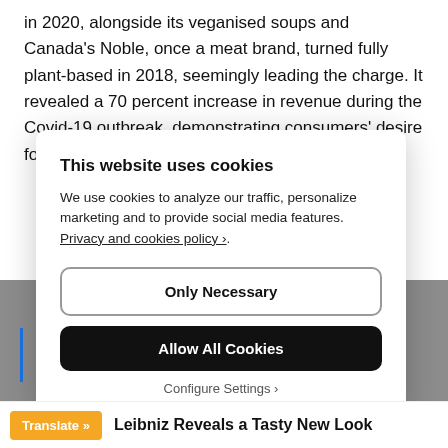in 2020, alongside its veganised soups and Canada's Noble, once a meat brand, turned fully plant-based in 2018, seemingly leading the charge. It revealed a 70 percent increase in revenue during the Covid-19 outbreak, demonstrating consumers' desire for food they consider
[Figure (screenshot): Cookie consent modal dialog with title 'This website uses cookies', body text, two buttons ('Only Necessary' and 'Allow All Cookies'), and a 'Configure Settings' link.]
Leibniz Reveals a Tasty New Look